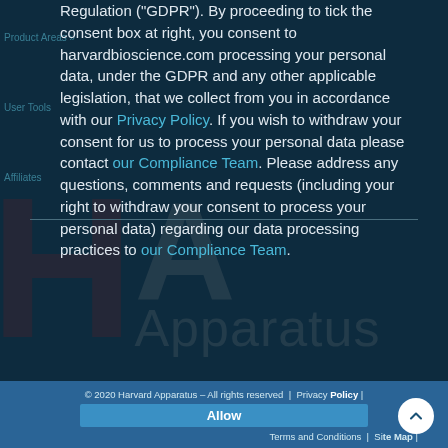Regulation ("GDPR"). By proceeding to tick the consent box at right, you consent to harvardbioscience.com processing your personal data, under the GDPR and any other applicable legislation, that we collect from you in accordance with our Privacy Policy. If you wish to withdraw your consent for us to process your personal data please contact our Compliance Team. Please address any questions, comments and requests (including your right to withdraw your consent to process your personal data) regarding our data processing practices to our Compliance Team.
© 2020 Harvard Apparatus – All rights reserved  |  Privacy Policy  |  Allow  |  Terms and Conditions  |  Site Map  |